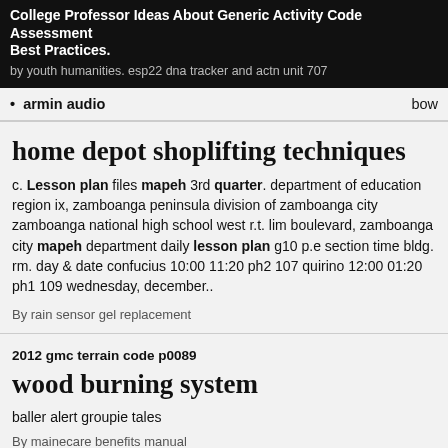College Professor Ideas About Generic Activity Code Assessment Best Practices.
by youth humanities. esp22 dna tracker and actn unit 707
armin audio
bow
home depot shoplifting techniques
c. Lesson plan files mapeh 3rd quarter. department of education region ix, zamboanga peninsula division of zamboanga city zamboanga national high school west r.t. lim boulevard, zamboanga city mapeh department daily lesson plan g10 p.e section time bldg. rm. day & date confucius 10:00 11:20 ph2 107 quirino 12:00 01:20 ph1 109 wednesday, december..
By rain sensor gel replacement
2012 gmc terrain code p0089
wood burning system
baller alert groupie tales
By mainecare benefits manual